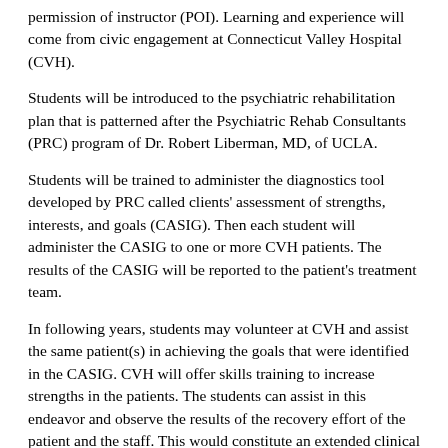permission of instructor (POI). Learning and experience will come from civic engagement at Connecticut Valley Hospital (CVH).
Students will be introduced to the psychiatric rehabilitation plan that is patterned after the Psychiatric Rehab Consultants (PRC) program of Dr. Robert Liberman, MD, of UCLA.
Students will be trained to administer the diagnostics tool developed by PRC called clients' assessment of strengths, interests, and goals (CASIG). Then each student will administer the CASIG to one or more CVH patients. The results of the CASIG will be reported to the patient's treatment team.
In following years, students may volunteer at CVH and assist the same patient(s) in achieving the goals that were identified in the CASIG. CVH will offer skills training to increase strengths in the patients. The students can assist in this endeavor and observe the results of the recovery effort of the patient and the staff. This would constitute an extended clinical experience for Wesleyan students.
Essential Capabilities: Effective Citizenship, Writing
Students volunteer at CVH with mentally ill patients. They assist the patients in learning new skills. Daily journal entries are